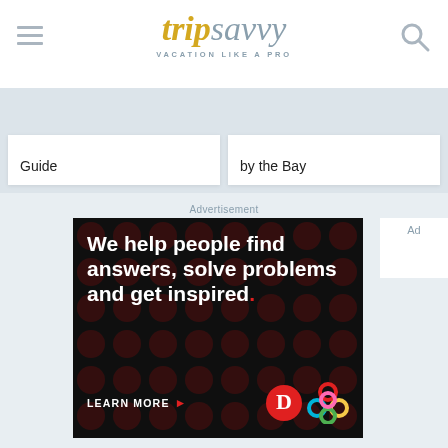tripsavvy VACATION LIKE A PRO
Guide
by the Bay
Advertisement
[Figure (screenshot): Advertisement banner with dark background and red polka dot pattern. White bold text reads 'We help people find answers, solve problems and get inspired.' with a red period. Below: 'LEARN MORE' with a red arrow, Dotdash logo (red circle with white D), and Dotdash Meredith colorful knot logo.]